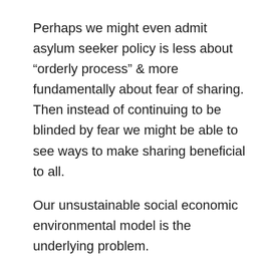Perhaps we might even admit asylum seeker policy is less about “orderly process” & more fundamentally about fear of sharing. Then instead of continuing to be blinded by fear we might be able to see ways to make sharing beneficial to all.
Our unsustainable social economic environmental model is the underlying problem.
An idea I think has merit because of its sound triple bottom line foundations is to offer asylum seekers 15hrs/wk work